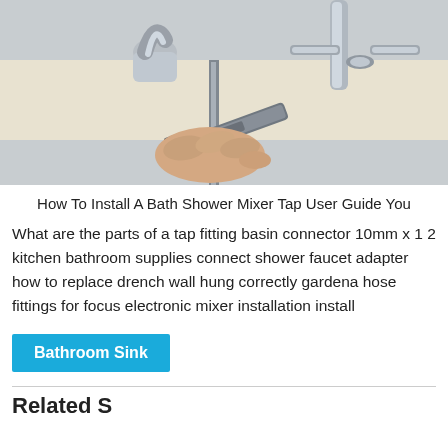[Figure (photo): Close-up photo of hands using a wrench to install a bath shower mixer tap on a bathroom sink. Chrome faucet fixtures visible on a light-colored countertop.]
How To Install A Bath Shower Mixer Tap User Guide You
What are the parts of a tap fitting basin connector 10mm x 1 2 kitchen bathroom supplies connect shower faucet adapter how to replace drench wall hung correctly gardena hose fittings for focus electronic mixer installation install
Bathroom Sink
Related S